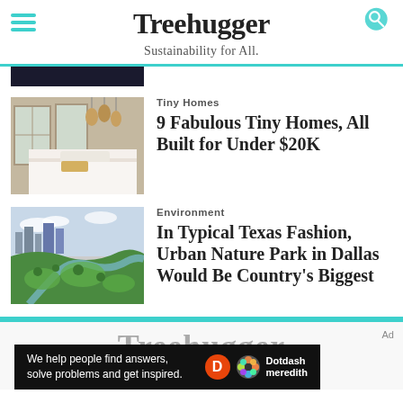Treehugger — Sustainability for All.
[Figure (photo): Partial top dark image strip]
[Figure (photo): Interior of a cozy tiny home bedroom with warm lighting and white canopy bed]
Tiny Homes
9 Fabulous Tiny Homes, All Built for Under $20K
[Figure (photo): Aerial view of Dallas urban nature park with green park winding through city]
Environment
In Typical Texas Fashion, Urban Nature Park in Dallas Would Be Country's Biggest
Treehugger — Ad — We help people find answers, solve problems and get inspired. Dotdash meredith